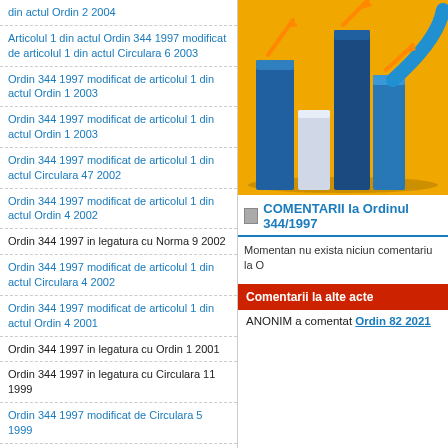din actul Ordin 2 2004
Articolul 1 din actul Ordin 344 1997 modificat de articolul 1 din actul Circulara 6 2003
Ordin 344 1997 modificat de articolul 1 din actul Ordin 1 2003
Ordin 344 1997 modificat de articolul 1 din actul Ordin 1 2003
Ordin 344 1997 modificat de articolul 1 din actul Circulara 47 2002
Ordin 344 1997 modificat de articolul 1 din actul Ordin 4 2002
Ordin 344 1997 in legatura cu Norma 9 2002
Ordin 344 1997 modificat de articolul 1 din actul Circulara 4 2002
Ordin 344 1997 modificat de articolul 1 din actul Ordin 4 2001
Ordin 344 1997 in legatura cu Ordin 1 2001
Ordin 344 1997 in legatura cu Circulara 11 1999
Ordin 344 1997 modificat de Circulara 5 1999
Ordin 344 1997 in legatura cu Ordin 344 1997
Cele mai căutate legi
[Figure (illustration): 3D bar chart illustration with blue bars and orange arrows on yellow/orange background]
COMENTARII la Ordinul 344/1997
Momentan nu exista niciun comentariu la O
Comentarii la alte acte
ANONIM a comentat Ordin 82 2021